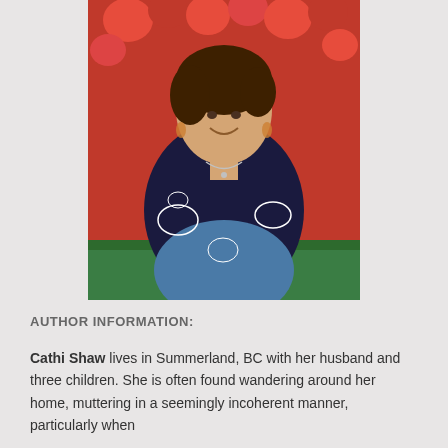[Figure (photo): Author photo of Cathi Shaw, a woman with short dark hair smiling, wearing a black embroidered top with white floral designs, seated outdoors in front of red flowers.]
AUTHOR INFORMATION:
Cathi Shaw lives in Summerland, BC with her husband and three children. She is often found wandering around her home, muttering in a seemingly incoherent manner, particularly when